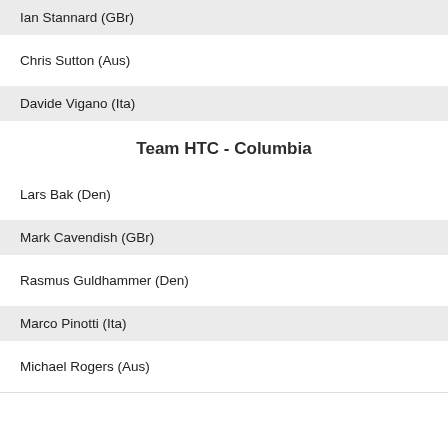Ian Stannard (GBr)
Chris Sutton (Aus)
Davide Vigano (Ita)
Team HTC - Columbia
Lars Bak (Den)
Mark Cavendish (GBr)
Rasmus Guldhammer (Den)
Marco Pinotti (Ita)
Michael Rogers (Aus)